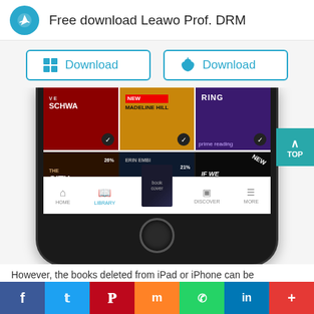Free download Leawo Prof. DRM
[Figure (screenshot): Two download buttons with Windows and Apple icons, teal/cyan outlined buttons labeled Download]
[Figure (screenshot): iPhone bottom half showing Kindle app library with book covers in a grid: VE Schwa, Madeline Hill book, Ring/Prime Reading, The City Of, Erin Embi book, If We Were book. Bottom navigation bar with HOME, LIBRARY (active), DISCOVER, MORE tabs. Home button at bottom.]
However, the books deleted from iPad or iPhone can be
[Figure (infographic): Social sharing bar with Facebook, Twitter, Pinterest, Mix, WhatsApp, LinkedIn, and plus buttons]